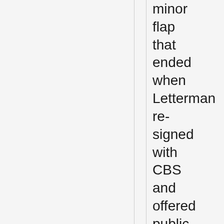minor flap that ended when Letterman re-signed with CBS and offered public apologies to